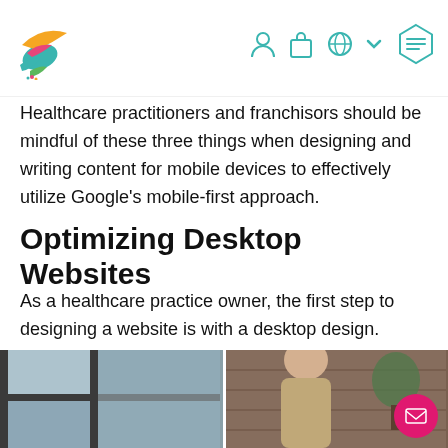[Navigation header with logo and icons]
Healthcare practitioners and franchisors should be mindful of these three things when designing and writing content for mobile devices to effectively utilize Google's mobile-first approach.
Optimizing Desktop Websites
As a healthcare practice owner, the first step to designing a website is with a desktop design. While this approach may have been fruitful in the past, Google's mobile-first indexing nudges website owners to create content for mobile users.
[Figure (photo): Photo strip at bottom showing two images side by side: left appears to be a window/office scene, right shows a person near plants/brick wall]